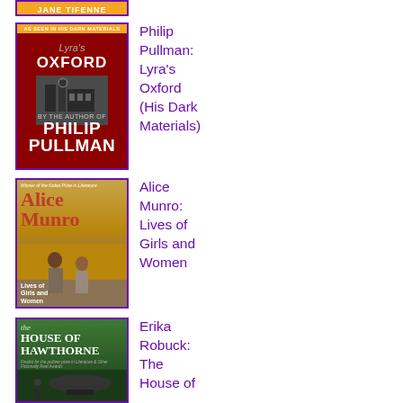[Figure (illustration): Partial top of a book cover with orange/yellow band and 'JANE TIFENNE' text visible]
[Figure (illustration): Book cover: Lyra's Oxford by Philip Pullman. Dark red background with building image and white title text.]
Philip Pullman: Lyra's Oxford (His Dark Materials)
[Figure (illustration): Book cover: Lives of Girls and Women by Alice Munro. Two women from behind in golden field.]
Alice Munro: Lives of Girls and Women
[Figure (illustration): Book cover: The House of Hawthorne by Erika Robuck. Green cover with stylized title.]
Erika Robuck: The House of